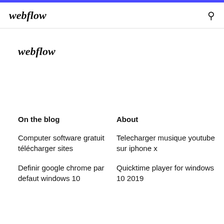webflow
webflow
On the blog
About
Computer software gratuit télécharger sites
Telecharger musique youtube sur iphone x
Definir google chrome par defaut windows 10
Quicktime player for windows 10 2019